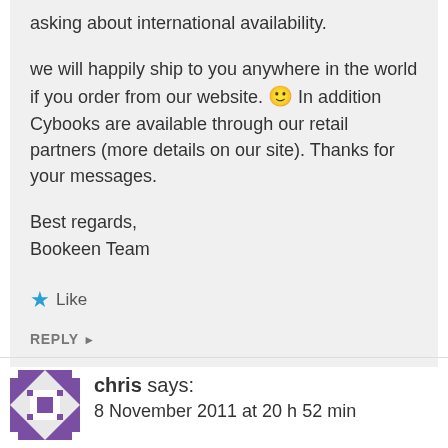asking about international availability.
we will happily ship to you anywhere in the world if you order from our website. 🙂 In addition Cybooks are available through our retail partners (more details on our site). Thanks for your messages.
Best regards,
Bookeen Team
★ Like
REPLY ▸
chris says:
8 November 2011 at 20 h 52 min